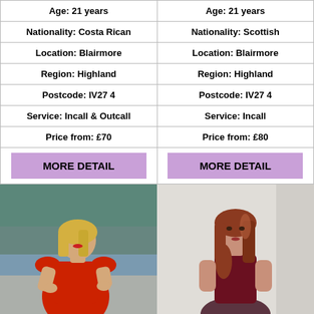|  |  |
| --- | --- |
| Age: 21 years | Age: 21 years |
| Nationality: Costa Rican | Nationality: Scottish |
| Location: Blairmore | Location: Blairmore |
| Region: Highland | Region: Highland |
| Postcode: IV27 4 | Postcode: IV27 4 |
| Service: Incall & Outcall | Service: Incall |
| Price from: £70 | Price from: £80 |
| MORE DETAIL | MORE DETAIL |
[Figure (photo): Woman in red off-shoulder top outdoors]
[Figure (photo): Woman with auburn hair in dark red lingerie]